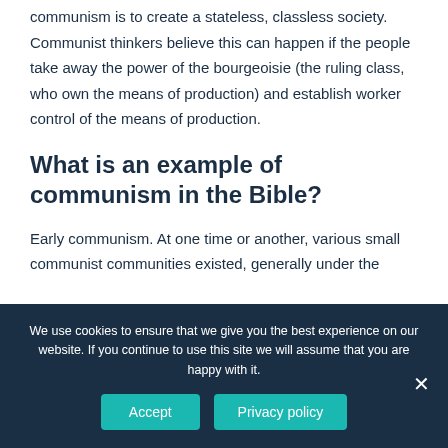communism is to create a stateless, classless society. Communist thinkers believe this can happen if the people take away the power of the bourgeoisie (the ruling class, who own the means of production) and establish worker control of the means of production.
What is an example of communism in the Bible?
Early communism. At one time or another, various small communist communities existed, generally under the
We use cookies to ensure that we give you the best experience on our website. If you continue to use this site we will assume that you are happy with it.